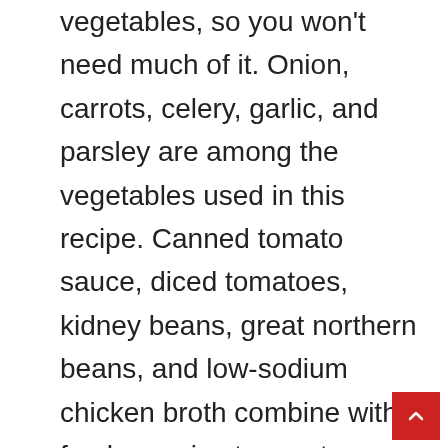vegetables, so you won't need much of it. Onion, carrots, celery, garlic, and parsley are among the vegetables used in this recipe. Canned tomato sauce, diced tomatoes, kidney beans, great northern beans, and low-sodium chicken broth combine with fresh veggies to create a layered taste profile that is both nutritious and delicious. As a result of the canned components, this dish is suitable for weeknight cooking because it requires little preparation time. The acidity of the canned tomatoes is simply balanced by this very modest quantity. You may eliminate the